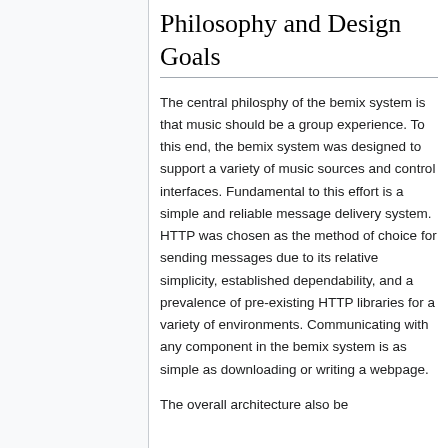Philosophy and Design Goals
The central philosphy of the bemix system is that music should be a group experience. To this end, the bemix system was designed to support a variety of music sources and control interfaces. Fundamental to this effort is a simple and reliable message delivery system. HTTP was chosen as the method of choice for sending messages due to its relative simplicity, established dependability, and a prevalence of pre-existing HTTP libraries for a variety of environments. Communicating with any component in the bemix system is as simple as downloading or writing a webpage.
The overall architecture also be...